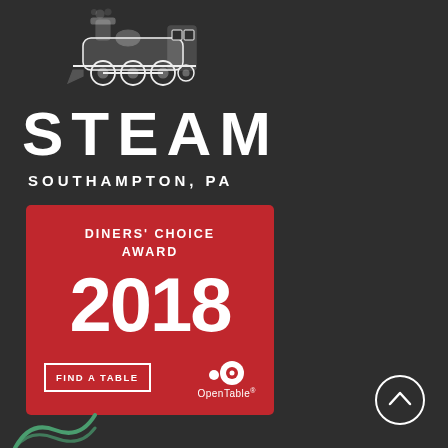[Figure (logo): Illustration of a steam locomotive engine, white line drawing on dark background]
STEAM
SOUTHAMPTON, PA
[Figure (infographic): Red award badge for OpenTable Diners Choice Award 2018 with Find a Table button and OpenTable logo]
DINERS' CHOICE AWARD
2018
FIND A TABLE
OpenTable